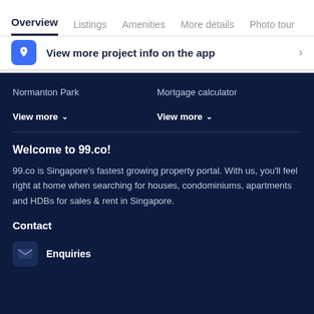Overview | Listings | Amenities | More details | Photo tour
View more project info on the app
Normanton Park
Mortgage calculator
View more
View more
Welcome to 99.co!
99.co is Singapore's fastest growing property portal. With us, you'll feel right at home when searching for houses, condominiums, apartments and HDBs for sales & rent in Singapore.
Contact
Enquiries